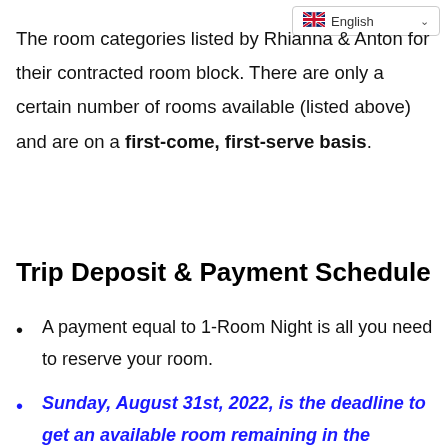The room categories listed by Rhianna & Anton for their contracted room block. There are only a certain number of rooms available (listed above) and are on a first-come, first-serve basis.
Trip Deposit & Payment Schedule
A payment equal to 1-Room Night is all you need to reserve your room.
Sunday, August 31st, 2022, is the deadline to get an available room remaining in the